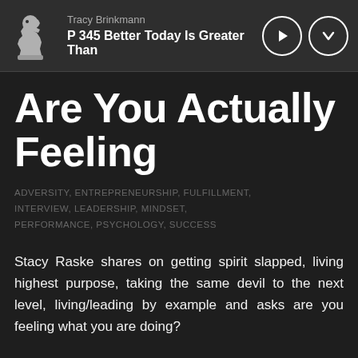Tracy Brinkmann — P 345 Better Today Is Greater Than
Are You Actually Feeling
ADVERSITY, ENTREPRENEURSHIP, FULFILLMENT, INTERVIEW, LEADERSHIP, MINDSET, PERFORMANCE, PSYCHOLOGY, SUCCESS
Stacy Raske shares on getting spirit slapped, living highest purpose, taking the same devil to the next level, living/leading by example and asks are you feeling what you are doing?